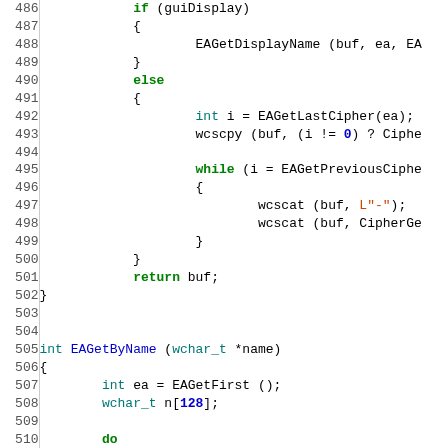[Figure (screenshot): Source code listing showing C/C++ code with syntax highlighting. Line numbers 486-516 visible. Code shows EAGetDisplayName, EAGetLastCipher, wcscpy, while loop with EAGetPreviousCipher, wcscat calls, return buf, closing brace, then EAGetByName function definition with wchar_t parameter, local variables, do loop, EAGetName call, #if defined(_UEFI) preprocessor, wcscmp comparisons.]